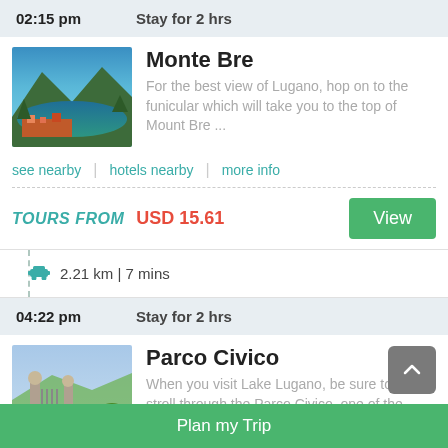02:15 pm   Stay for 2 hrs
Monte Bre
For the best view of Lugano, hop on to the funicular which will take you to the top of Mount Bre ...
see nearby | hotels nearby | more info
TOURS FROM USD 15.61
2.21 km | 7 mins
04:22 pm   Stay for 2 hrs
Parco Civico
When you visit Lake Lugano, be sure to take a stroll through the Parco Civico, one of the most pi...
Plan my Trip